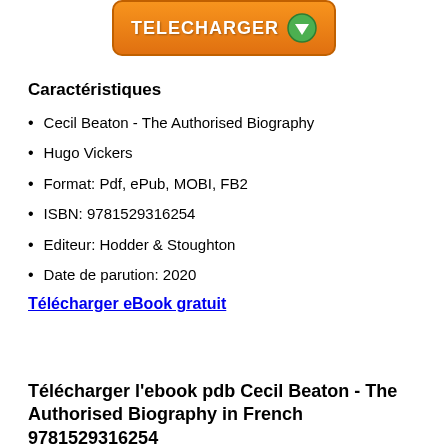[Figure (other): Orange download button with text TELECHARGER and green arrow icon]
Caractéristiques
Cecil Beaton - The Authorised Biography
Hugo Vickers
Format: Pdf, ePub, MOBI, FB2
ISBN: 9781529316254
Editeur: Hodder & Stoughton
Date de parution: 2020
Télécharger eBook gratuit
Télécharger l'ebook pdb Cecil Beaton - The Authorised Biography in French 9781529316254